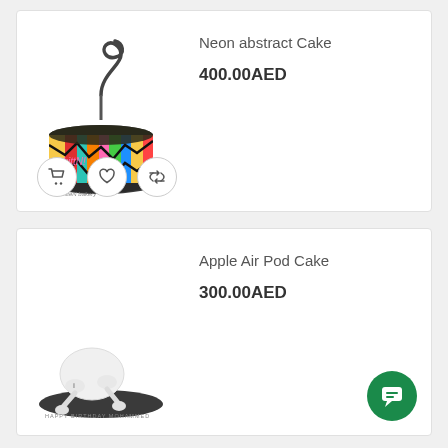[Figure (photo): Neon abstract colorful cake with a swirl topper on a dark round board]
Neon abstract Cake
400.00AED
[Figure (photo): Apple AirPods-shaped white cake on a dark round board with 'Happy Birthday Mohammed' text]
Apple Air Pod Cake
300.00AED